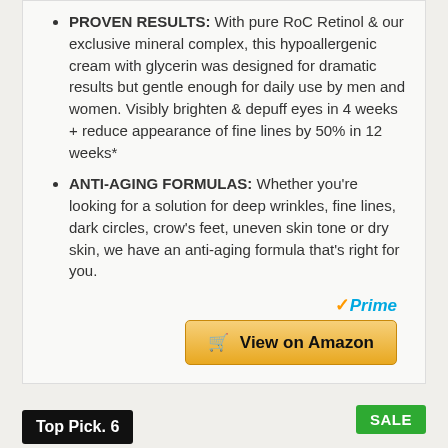PROVEN RESULTS: With pure RoC Retinol & our exclusive mineral complex, this hypoallergenic cream with glycerin was designed for dramatic results but gentle enough for daily use by men and women. Visibly brighten & depuff eyes in 4 weeks + reduce appearance of fine lines by 50% in 12 weeks*
ANTI-AGING FORMULAS: Whether you're looking for a solution for deep wrinkles, fine lines, dark circles, crow's feet, uneven skin tone or dry skin, we have an anti-aging formula that's right for you.
[Figure (logo): Amazon Prime logo with checkmark and 'Prime' in blue italic text]
View on Amazon
Top Pick. 6
SALE